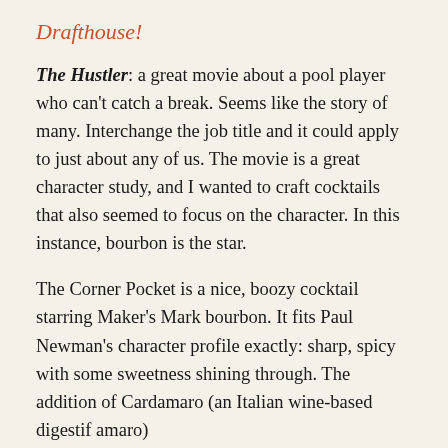Drafthouse!
The Hustler: a great movie about a pool player who can't catch a break. Seems like the story of many. Interchange the job title and it could apply to just about any of us. The movie is a great character study, and I wanted to craft cocktails that also seemed to focus on the character. In this instance, bourbon is the star.
The Corner Pocket is a nice, boozy cocktail starring Maker's Mark bourbon. It fits Paul Newman's character profile exactly: sharp, spicy with some sweetness shining through. The addition of Cardamaro (an Italian wine-based digestif amaro) [continues...]